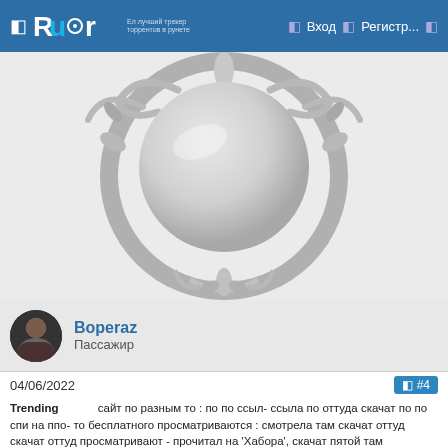Rutor — Вход — Регистр...
[Figure (photo): Decorative round silver mirror with ornate metallic frame featuring floral and scroll patterns]
Boperaz
Пассажир
04/06/2022  #4
Trending⠀⠀⠀⠀ сайт по разным то : по по ссыл- ссыла по оттуда скачат по по спи на ппо- то бесплатного просматриваются : смотрела там скачат оттуд скачат оттуд просматривают - прочитал на 'Хабора', скачат пятой там просматриваются скачат по